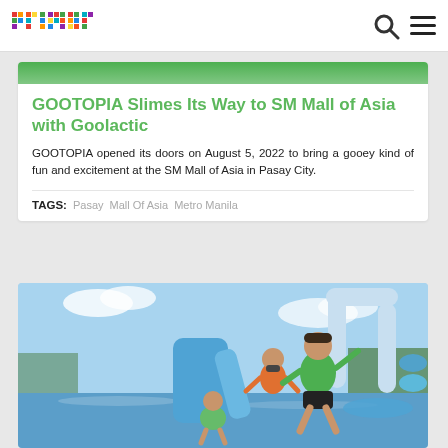primer
[Figure (photo): Green-tinted top portion of an article hero image, cropped at the top]
GOOTOPIA Slimes Its Way to SM Mall of Asia with Goolactic
GOOTOPIA opened its doors on August 5, 2022 to bring a gooey kind of fun and excitement at the SM Mall of Asia in Pasay City.
TAGS: Pasay   Mall Of Asia   Metro Manila
[Figure (photo): People on a blue inflatable water park obstacle course on a lake. A child in a green life vest jumps forward, an adult in orange sits on a slide, and a small child crouches below. Blue inflatable structures and green trees in background.]